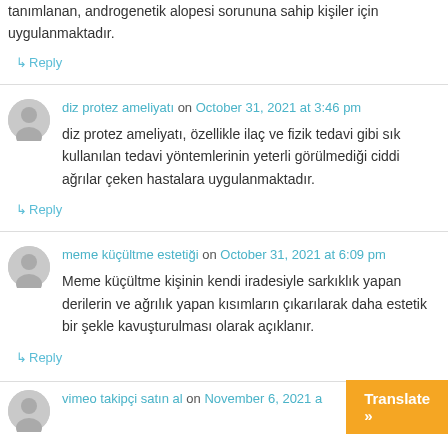tanımlanan, androgenetik alopesi sorununa sahip kişiler için uygulanmaktadır.
↳ Reply
diz protez ameliyatı on October 31, 2021 at 3:46 pm
diz protez ameliyatı, özellikle ilaç ve fizik tedavi gibi sık kullanılan tedavi yöntemlerinin yeterli görülmediği ciddi ağrılar çeken hastalara uygulanmaktadır.
↳ Reply
meme küçültme estetiği on October 31, 2021 at 6:09 pm
Meme küçültme kişinin kendi iradesiyle sarkıklık yapan derilerin ve ağrılık yapan kısımların çıkarılarak daha estetik bir şekle kavuşturulması olarak açıklanır.
↳ Reply
vimeo takipçi satın al on November 6, 2021 a...
Translate »